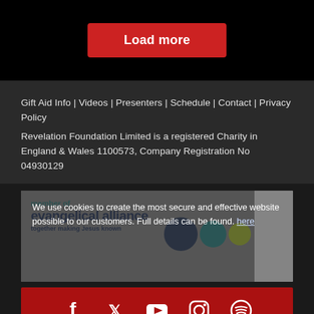[Figure (other): Red 'Load more' button on black background]
Gift Aid Info | Videos | Presenters | Schedule | Contact | Privacy Policy
Revelation Foundation Limited is a registered Charity in England & Wales 1100573, Company Registration No 04930129
[Figure (other): Cookie consent overlay on top of Evangelical Alliance member logo with circles and white strip. Text reads: We use cookies to create the most secure and effective website possible to our customers. Full details can be found. here]
[Figure (other): Red social media bar with Facebook, Twitter, YouTube, Instagram, and Spotify icons]
© 2022 revelation tv | Powered by Mangomolo